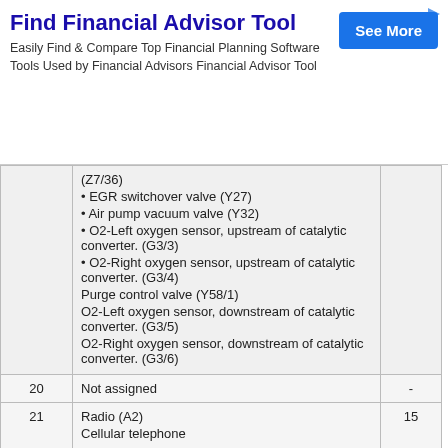[Figure (other): Advertisement banner: Find Financial Advisor Tool. Easily Find & Compare Top Financial Planning Software Tools Used by Financial Advisors Financial Advisor Tool. Blue 'See More' button on the right.]
| # | Description | A |
| --- | --- | --- |
|  | (Z7/36)
• EGR switchover valve (Y27)
• Air pump vacuum valve (Y32)
• O2-Left oxygen sensor, upstream of catalytic converter. (G3/3)
• O2-Right oxygen sensor, upstream of catalytic converter. (G3/4)
Purge control valve (Y58/1)
O2-Left oxygen sensor, downstream of catalytic converter. (G3/5)
O2-Right oxygen sensor, downstream of catalytic converter. (G3/6) |  |
| 20 | Not assigned | - |
| 21 | Radio (A2)
Cellular telephone | 15 |